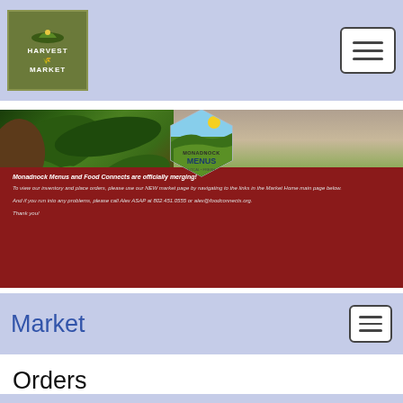[Figure (logo): Harvest Market logo - green rectangular badge with wheat/farm icon]
[Figure (illustration): Monadnock Menus banner with fresh greens on left, cow in field on right, Monadnock Menus hexagonal badge in center. Tagline: WE DELIVER FRESH, LOCAL FOOD FROM FARMS AND PRODUCERS IN YOUR COMMUNITY]
Monadnock Menus and Food Connects are officially merging! To view our inventory and place orders, please use our NEW market page by navigating to the links in the Market Home main page below. And if you run into any problems, please call Alex ASAP at 802.451.0555 or alex@foodconnects.org. Thank you!
Market
Orders